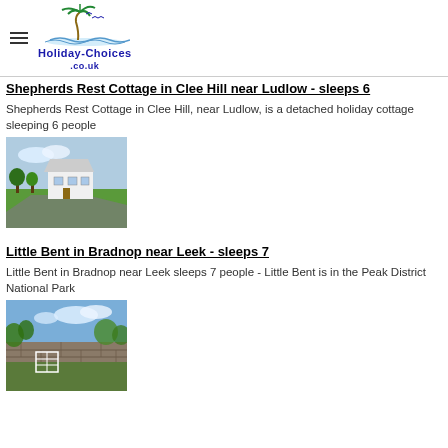Holiday-Choices.co.uk
Shepherds Rest Cottage in Clee Hill near Ludlow - sleeps 6
Shepherds Rest Cottage in Clee Hill, near Ludlow, is a detached holiday cottage sleeping 6 people
[Figure (photo): Photo of Shepherds Rest Cottage, a white detached house with green lawn and road in foreground]
Little Bent in Bradnop near Leek - sleeps 7
Little Bent in Bradnop near Leek sleeps 7 people - Little Bent is in the Peak District National Park
[Figure (photo): Photo of Little Bent property showing stone wall with gate and vegetation, blue sky background]